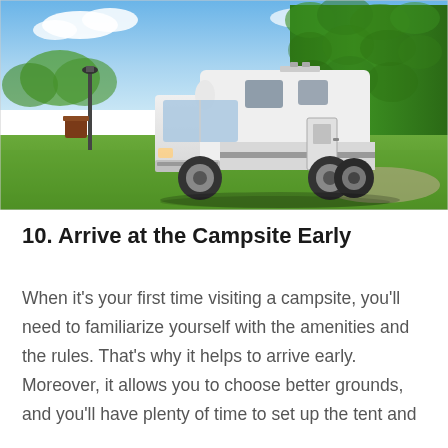[Figure (photo): A white motorhome/RV parked on green grass in front of a tall dense green hedge under a partly cloudy blue sky. A lamp post is visible on the left side.]
10. Arrive at the Campsite Early
When it's your first time visiting a campsite, you'll need to familiarize yourself with the amenities and the rules. That's why it helps to arrive early. Moreover, it allows you to choose better grounds, and you'll have plenty of time to set up the tent and